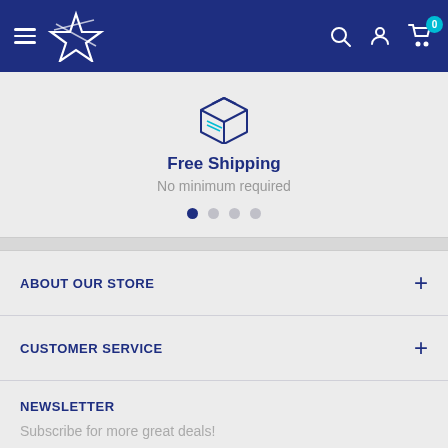Navigation bar with hamburger menu, star logo, search icon, account icon, and cart with 0 items
[Figure (illustration): Box/package icon in dark navy blue outline style]
Free Shipping
No minimum required
[Figure (other): Carousel dots: 4 dots, first active (dark blue), rest light grey]
ABOUT OUR STORE
CUSTOMER SERVICE
NEWSLETTER
Subscribe for more great deals!